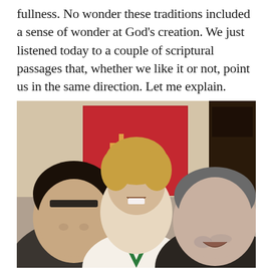fullness. No wonder these traditions included a sense of wonder at God's creation. We just listened today to a couple of scriptural passages that, whether we like it or not, point us in the same direction. Let me explain.
[Figure (photo): A selfie-style photograph of three people smiling indoors. In the center is a woman with short blonde hair wearing a green clergy stole with red and yellow cross patterns over a white top. To the left is a woman with dark hair wearing a dark jacket. To the right is a heavyset man with gray stubble wearing a dark turtleneck. In the background is a red abstract painting featuring a cross motif.]